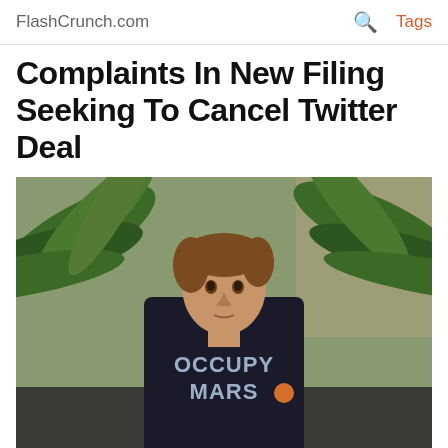FlashCrunch.com  🔍  Tags
Complaints In New Filing Seeking To Cancel Twitter Deal
[Figure (photo): Photo of Elon Musk wearing a black 'OCCUPY MARS' t-shirt with palm trees in the background]
Forbes.com | 30. 08. 2022 14:40:38 | Business